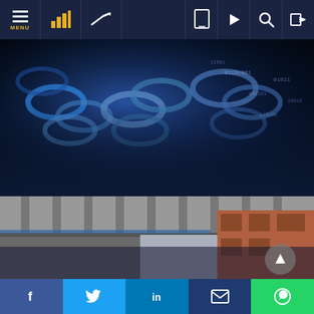Navigation bar with MENU, chart icons, and utility icons
[Figure (screenshot): Digital chain/blockchain abstract image with glowing blue binary code overlay]
Virtual real estate: New-age fad or feature of the future?
[Figure (photo): Underside of urban bridge/overpass infrastructure with buildings in background]
Migrants in South Africa have access to
Social share bar: Facebook, Twitter, LinkedIn, Email, WhatsApp